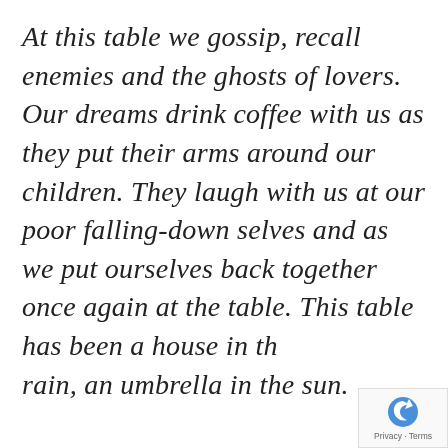At this table we gossip, recall enemies and the ghosts of lovers. Our dreams drink coffee with us as they put their arms around our children. They laugh with us at our poor falling-down selves and as we put ourselves back together once again at the table. This table has been a house in the rain, an umbrella in the sun.